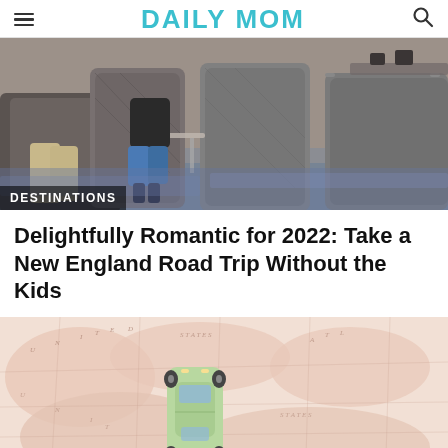DAILY MOM
[Figure (photo): Two people sitting in plush grey leather armchairs in a modern hotel lounge, with a glass coffee table between them. One person wears khaki pants, the other wears black top and denim skirt. Blue patterned rug visible.]
DESTINATIONS
Delightfully Romantic for 2022: Take a New England Road Trip Without the Kids
[Figure (photo): Aerial view of a vintage pink/beige world map with a small light green toy SUV/car placed on top of it, viewed from above.]